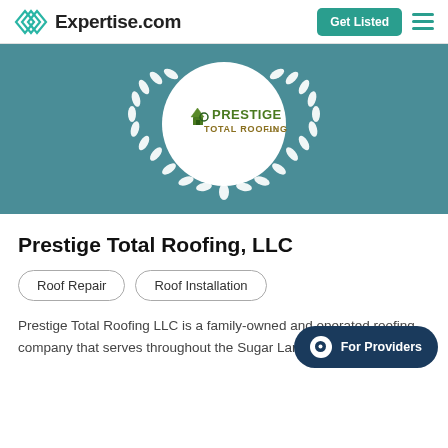Expertise.com
[Figure (logo): Prestige Total Roofing LLC logo centered in a white circle with white laurel wreath on teal background banner]
Prestige Total Roofing, LLC
Roof Repair
Roof Installation
Prestige Total Roofing LLC is a family-owned and operated roofing company that serves throughout the Sugar Land area. The company